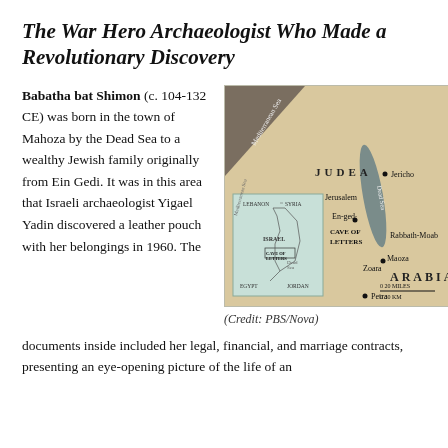The War Hero Archaeologist Who Made a Revolutionary Discovery
Babatha bat Shimon (c. 104-132 CE) was born in the town of Mahoza by the Dead Sea to a wealthy Jewish family originally from Ein Gedi. It was in this area that Israeli archaeologist Yigael Yadin discovered a leather pouch with her belongings in 1960. The documents inside included her legal, financial, and marriage contracts, presenting an eye-opening picture of the life of an
[Figure (map): Map showing ancient Judea and Arabia region around the Dead Sea, with locations marked including Jerusalem, Jericho, En-gedi, Cave of Letters, Rabbath-Moab, Maoza, Zoara, and Petra. An inset map shows the broader region including Lebanon, Syria, Israel, Egypt, and Jordan with the Cave of Letters marked.]
(Credit: PBS/Nova)